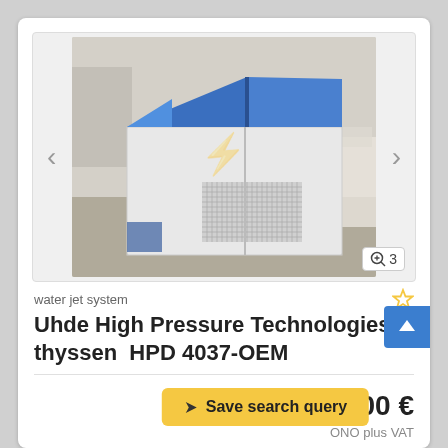[Figure (photo): Industrial water jet system machine (Uhde High Pressure Technologies thyssen HPD 4037-OEM) in white and blue color, photographed in a warehouse/factory setting. The machine has a white rectangular base unit with ventilation grilles and a blue angled top cover. A watermark/logo overlay is visible on the image.]
water jet system
Uhde High Pressure Technologies thyssen  HPD 4037-OEM
Save search query
40,000 €
ONO plus VAT